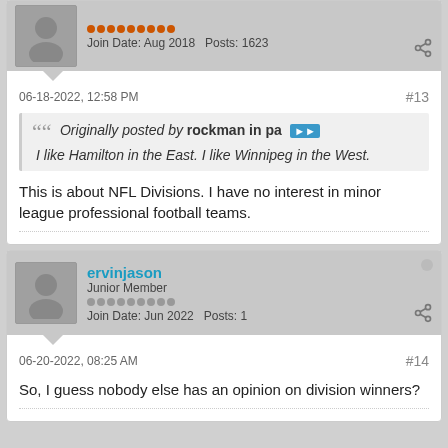Join Date: Aug 2018  Posts: 1623
06-18-2022, 12:58 PM  #13
Originally posted by rockman in pa
I like Hamilton in the East. I like Winnipeg in the West.
This is about NFL Divisions. I have no interest in minor league professional football teams.
ervinjason
Junior Member
Join Date: Jun 2022  Posts: 1
06-20-2022, 08:25 AM  #14
So, I guess nobody else has an opinion on division winners?